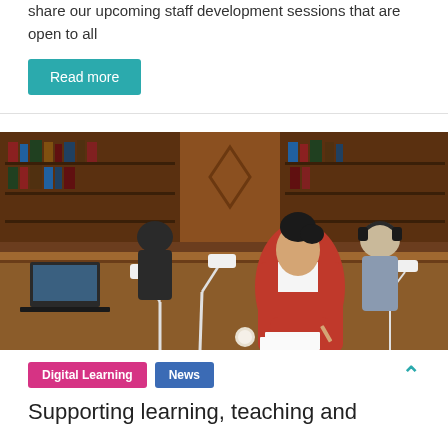share our upcoming staff development sessions that are open to all
Read more
[Figure (photo): Students studying in a wood-panelled library with white desk lamps, a woman in red jacket writing in the foreground]
Digital Learning
News
Supporting learning, teaching and